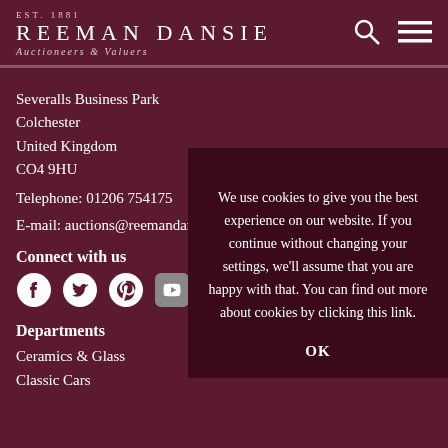EST. 1881 REEMAN DANSIE Auctioneers & Valuers
Severalls Business Park
Colchester
United Kingdom
CO4 9HU

Telephone: 01206 754175

E-mail: auctions@reemandansie.com
Connect with us
[Figure (other): Social media icons: Facebook, Twitter, Pinterest, YouTube, Instagram]
Departments
Ceramics & Glass
Classic Cars
We use cookies to give you the best experience on our website. If you continue without changing your settings, we'll assume that you are happy with that. You can find out more about cookies by clicking this link.

OK